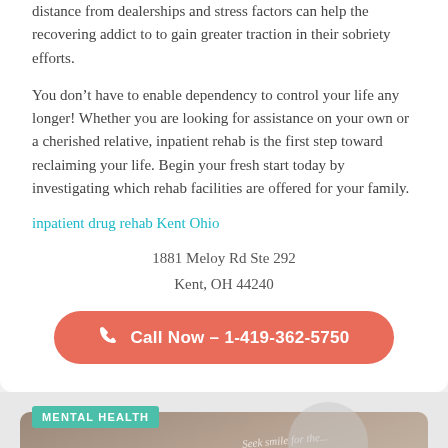distance from dealerships and stress factors can help the recovering addict to to gain greater traction in their sobriety efforts.
You don’t have to enable dependency to control your life any longer! Whether you are looking for assistance on your own or a cherished relative, inpatient rehab is the first step toward reclaiming your life. Begin your fresh start today by investigating which rehab facilities are offered for your family.
inpatient drug rehab Kent Ohio
1881 Meloy Rd Ste 292
Kent, OH 44240
Call Now – 1-419-362-5750
[Figure (photo): Bottom section showing a mental health article card with a photo of a person, a teal MENTAL HEALTH label badge, a circular watermark, and a red WhatsApp icon button.]